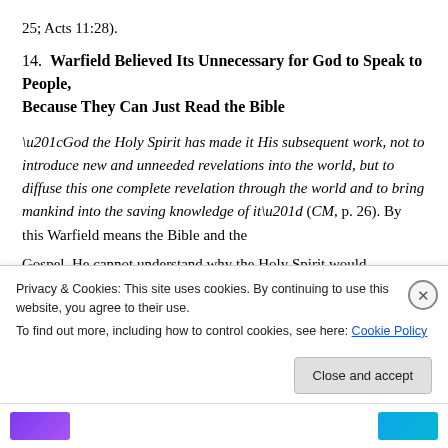25; Acts 11:28).
14.  Warfield Believed Its Unnecessary for God to Speak to People, Because They Can Just Read the Bible
“God the Holy Spirit has made it His subsequent work, not to introduce new and unneeded revelations into the world, but to diffuse this one complete revelation through the world and to bring mankind into the saving knowledge of it” (CM, p. 26). By this Warfield means the Bible and the Gospel. He cannot understand why the Holy Spirit would
Privacy & Cookies: This site uses cookies. By continuing to use this website, you agree to their use.
To find out more, including how to control cookies, see here: Cookie Policy
Close and accept